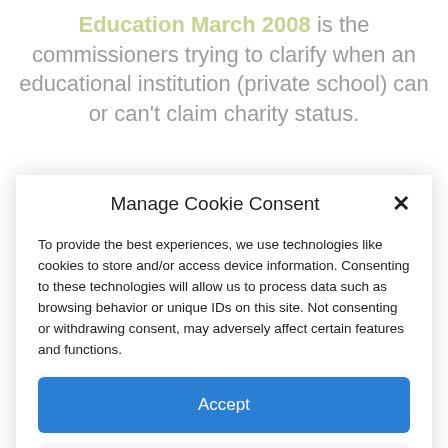Education March 2008 is the commissioners trying to clarify when an educational institution (private school) can or can't claim charity status.
Manage Cookie Consent
To provide the best experiences, we use technologies like cookies to store and/or access device information. Consenting to these technologies will allow us to process data such as browsing behavior or unique IDs on this site. Not consenting or withdrawing consent, may adversely affect certain features and functions.
Accept
Deny
View preferences
Cookie Policy   Privacy Policy